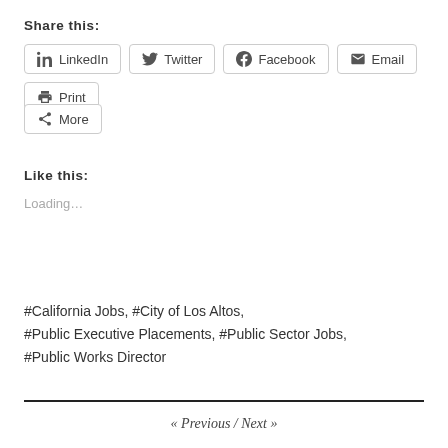Share this:
LinkedIn | Twitter | Facebook | Email | Print
More
Like this:
Loading...
#California Jobs, #City of Los Altos, #Public Executive Placements, #Public Sector Jobs, #Public Works Director
« Previous / Next »